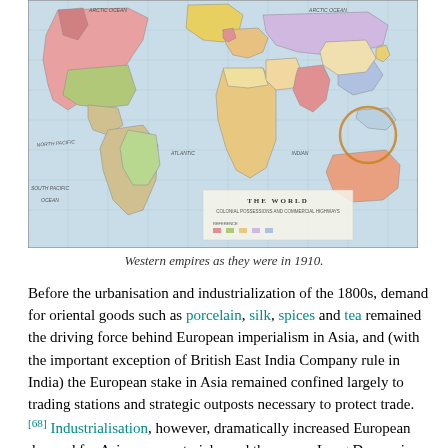[Figure (map): A historical world map titled 'THE WORLD — Colonial Possessions and Commercial Highways' showing Western empires and colonial territories as they were in 1910, with countries colored by colonial power and trade routes indicated.]
Western empires as they were in 1910.
Before the urbanisation and industrialization of the 1800s, demand for oriental goods such as porcelain, silk, spices and tea remained the driving force behind European imperialism in Asia, and (with the important exception of British East India Company rule in India) the European stake in Asia remained confined largely to trading stations and strategic outposts necessary to protect trade.[68] Industrialisation, however, dramatically increased European demand for Asian raw materials; and the severe Long Depression of the 1870s provoked a scramble for